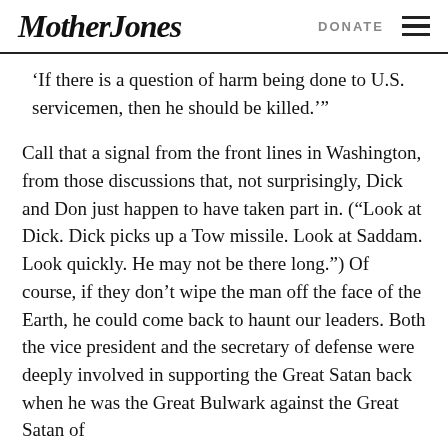Mother Jones | DONATE
‘If there is a question of harm being done to U.S. servicemen, then he should be killed.’”
Call that a signal from the front lines in Washington, from those discussions that, not surprisingly, Dick and Don just happen to have taken part in. (“Look at Dick. Dick picks up a Tow missile. Look at Saddam. Look quickly. He may not be there long.”) Of course, if they don’t wipe the man off the face of the Earth, he could come back to haunt our leaders. Both the vice president and the secretary of defense were deeply involved in supporting the Great Satan back when he was the Great Bulwark against the Great Satan of